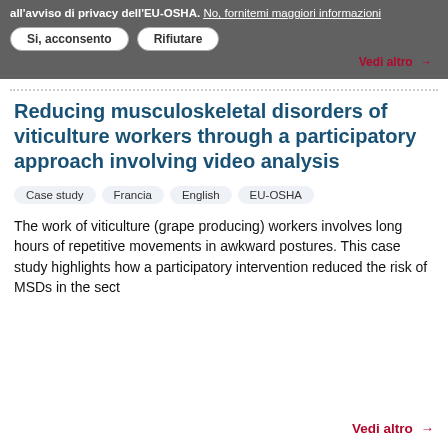all'avviso di privacy dell'EU-OSHA. No, fornitemi maggiori informazioni
Si, acconsento   Rifiutare
Vedi altro →
Reducing musculoskeletal disorders of viticulture workers through a participatory approach involving video analysis
Case study
Francia
English
EU-OSHA
The work of viticulture (grape producing) workers involves long hours of repetitive movements in awkward postures. This case study highlights how a participatory intervention reduced the risk of MSDs in the sect
Vedi altro →